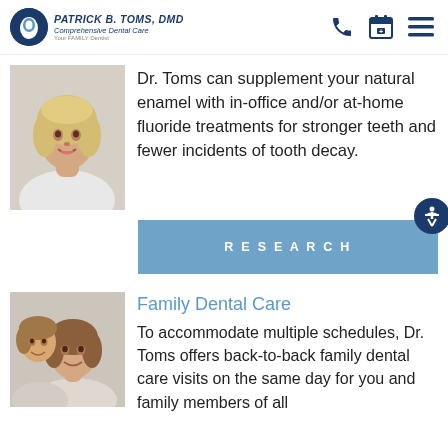PATRICK B. TOMS, DMD Comprehensive Dental Care Your FAMILY Dentist
[Figure (photo): Smiling middle-aged blonde woman]
Dr. Toms can supplement your natural enamel with in-office and/or at-home fluoride treatments for stronger teeth and fewer incidents of tooth decay.
RESEARCH
[Figure (photo): Mother and child smiling together]
Family Dental Care
To accommodate multiple schedules, Dr. Toms offers back-to-back family dental care visits on the same day for you and family members of all